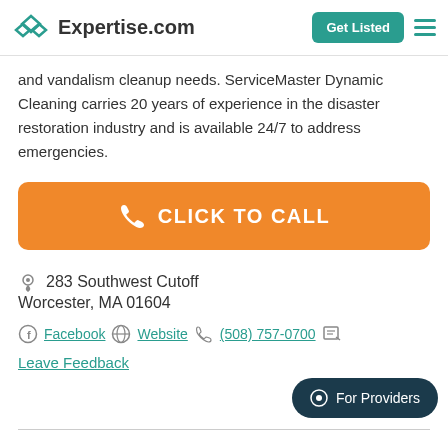Expertise.com
and vandalism cleanup needs. ServiceMaster Dynamic Cleaning carries 20 years of experience in the disaster restoration industry and is available 24/7 to address emergencies.
[Figure (other): Orange CLICK TO CALL button with phone icon]
283 Southwest Cutoff
Worcester, MA 01604
Facebook   Website   (508) 757-0700
Leave Feedback